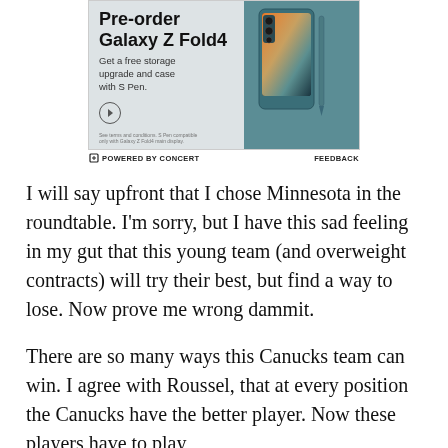[Figure (illustration): Samsung Galaxy Z Fold4 pre-order advertisement. Shows phone image on teal/blue background with text: Pre-order Galaxy Z Fold4, Get a free storage upgrade and case with S Pen.]
⊟ POWERED BY CONCERT   FEEDBACK
I will say upfront that I chose Minnesota in the roundtable. I'm sorry, but I have this sad feeling in my gut that this young team (and overweight contracts) will try their best, but find a way to lose. Now prove me wrong dammit.
There are so many ways this Canucks team can win. I agree with Roussel, that at every position the Canucks have the better player. Now these players have to play